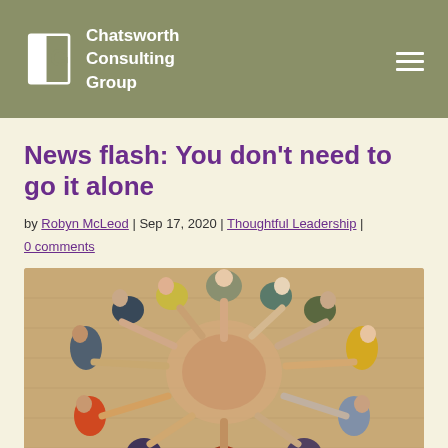Chatsworth Consulting Group
News flash: You don’t need to go it alone
by Robyn McLeod | Sep 17, 2020 | Thoughtful Leadership |
0 comments
[Figure (photo): Aerial view of a diverse group of people sitting in a circle on a wooden floor, reaching their hands in toward the center, forming a circular pattern with their arms.]